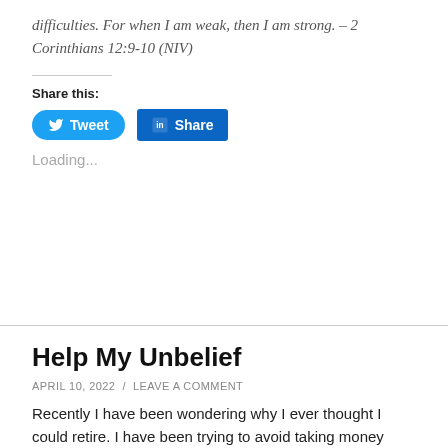difficulties. For when I am weak, then I am strong. – 2 Corinthians 12:9-10 (NIV)
Share this:
[Figure (other): Tweet button (Twitter/X blue pill) and LinkedIn Share button]
Loading...
Help My Unbelief
APRIL 10, 2022 / LEAVE A COMMENT
Recently I have been wondering why I ever thought I could retire. I have been trying to avoid taking money